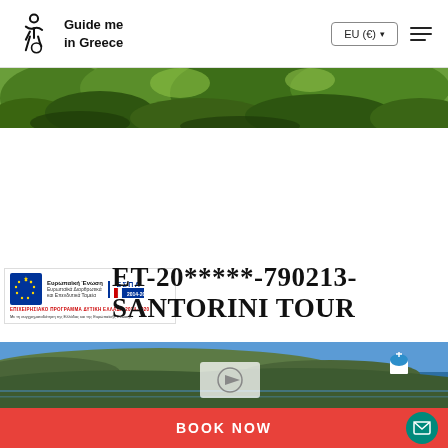[Figure (logo): Guide me in Greece logo with stylized wheelchair/person icon and text]
EU (€) ▾
[Figure (photo): Top scenic photo of green lush landscape/forest from aerial view]
[Figure (logo): European Union and ESPA 2014-2020 funding logos with Greek text]
ET-20*****-790213- SANTORINI TOUR
[Figure (photo): Aerial photo of Santorini island with blue dome church visible]
BOOK NOW